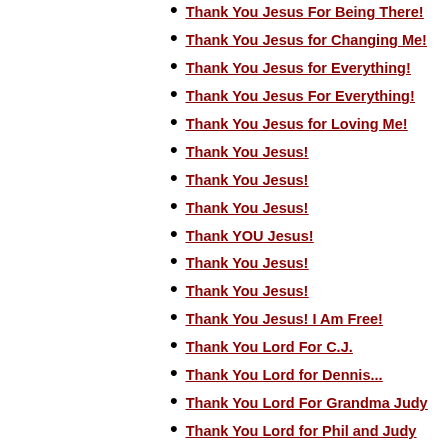Thank You Jesus For Being There!
Thank You Jesus for Changing Me!
Thank You Jesus for Everything!
Thank You Jesus For Everything!
Thank You Jesus for Loving Me!
Thank You Jesus!
Thank You Jesus!
Thank You Jesus!
Thank YOU Jesus!
Thank You Jesus!
Thank You Jesus!
Thank You Jesus! I Am Free!
Thank You Lord For C.J.
Thank You Lord for Dennis...
Thank You Lord For Grandma Judy
Thank You Lord for Phil and Judy
Thank You Lord for Ruby
Thank You Lord for the Hines Family
Thank You Lord For Your Love Divine
Thank You Lord Jesus!
Thank You Lord!
Thank You Lord!
Thank You Lord, for Helping Me!
Thank You Mr. Parker!
Thank You My Lord!
Thanks Bob! For A Job Well Done!
Thanks Brother!
Thanks Chris!
Thanks for a Job Well Done!
Thanks for Aunt Geraldine...
Thanks for My Wonderful Wife!